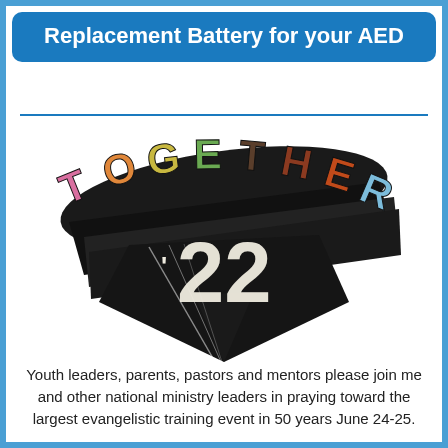Replacement Battery for your AED
[Figure (logo): TOGETHER '22 stylized 3D logo with colorful letters (pink T, orange O, yellow G, green E, dark T, brown H, red E, dark R) arranged in an arc above large white '22' numerals on a dark pointed background]
Youth leaders, parents, pastors and mentors please join me and other national ministry leaders in praying toward the largest evangelistic training event in 50 years June 24-25.